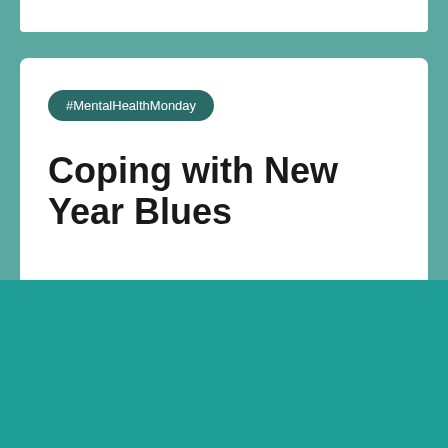#MentalHealthMonday
Coping with New Year Blues
Share Tweet to @mummykindoff 'Happy' New Year does assuming that...
We use cookies on our website to give you the most relevant experience by remembering your preferences and repeat visits. By clicking "Accept", you consent to the use of ALL the cookies.
Cookie settings
ACCEPT